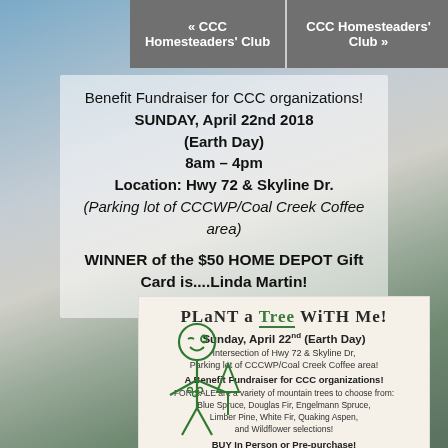« CCC Homesteaders' Club | CCC Homesteaders' Club »
Benefit Fundraiser for CCC organizations! SUNDAY, April 22nd 2018 (Earth Day) 8am – 4pm Location: Hwy 72 & Skyline Dr. (Parking lot of CCCWP/Coal Creek Coffee area)
WINNER of the $50 HOME DEPOT Gift Card is....Linda Martin!
[Figure (illustration): Cartoon stick figure child smiling, holding a small tree sapling]
PLANT A TREE WITH ME! Sunday, April 22nd (Earth Day) Intersection of Hwy 72 & Skyline Dr. Parking lot of CCCWP/Coal Creek Coffee area! A Benefit Fundraiser for CCC organizations! FOR SALE are a variety of mountain trees to choose from: Blue Spruce, Douglas Fir, Engelmann Spruce, Limber Pine, White Fir, Quaking Aspen, and Wildflower selections! BUY In Person or Pre-purchase!